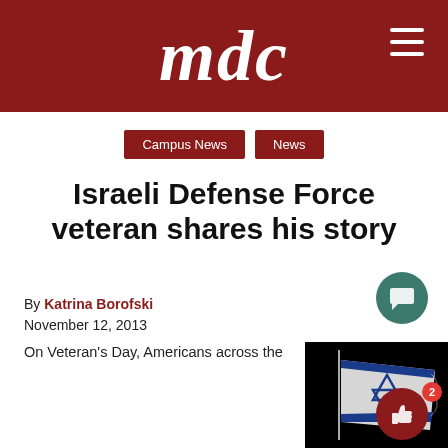mdc
Campus News
News
Israeli Defense Force veteran shares his story
By Katrina Borofski
November 12, 2013
On Veteran's Day, Americans across the
[Figure (photo): Israeli flag waving against a dark/black background, showing the Star of David in blue and white colors]